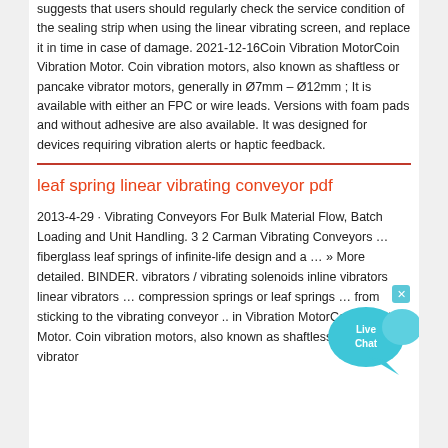suggests that users should regularly check the service condition of the sealing strip when using the linear vibrating screen, and replace it in time in case of damage. 2021-12-16Coin Vibration MotorCoin Vibration Motor. Coin vibration motors, also known as shaftless or pancake vibrator motors, generally in Ø7mm – Ø12mm ; It is available with either an FPC or wire leads. Versions with foam pads and without adhesive are also available. It was designed for devices requiring vibration alerts or haptic feedback.
[Figure (other): Live Chat widget button — a blue speech bubble with 'Live Chat' text and a small X close button]
leaf spring linear vibrating conveyor pdf
2013-4-29 · Vibrating Conveyors For Bulk Material Flow, Batch Loading and Unit Handling. 3 2 Carman Vibrating Conveyors … fiberglass leaf springs of infinite-life design and a … » More detailed. BINDER. vibrators / vibrating solenoids inline vibrators linear vibrators … compression springs or leaf springs … from sticking to the vibrating conveyor .. in Vibration MotorCoin Vibration Motor. Coin vibration motors, also known as shaftless or pancake vibrator